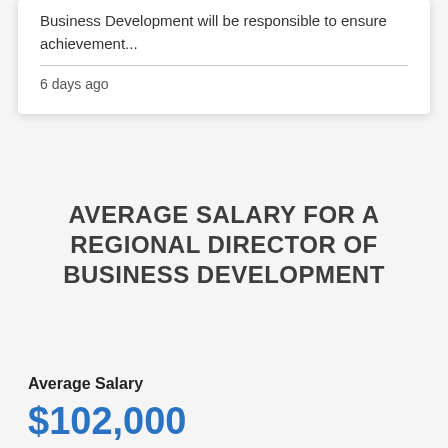Business Development will be responsible to ensure achievement...
6 days ago
AVERAGE SALARY FOR A REGIONAL DIRECTOR OF BUSINESS DEVELOPMENT
Average Salary
$102,000